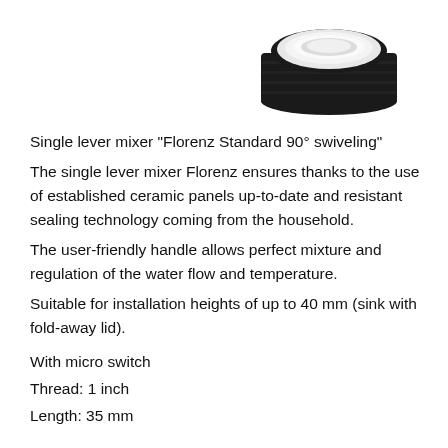[Figure (photo): A black threaded fitting/adapter with a white ceramic or plastic top element, viewed from above at an angle. Round, compact product piece.]
Single lever mixer "Florenz Standard 90° swiveling"
The single lever mixer Florenz ensures thanks to the use of established ceramic panels up-to-date and resistant sealing technology coming from the household.
The user-friendly handle allows perfect mixture and regulation of the water flow and temperature.
Suitable for installation heights of up to 40 mm (sink with fold-away lid).
With micro switch
Thread: 1 inch
Length: 35 mm